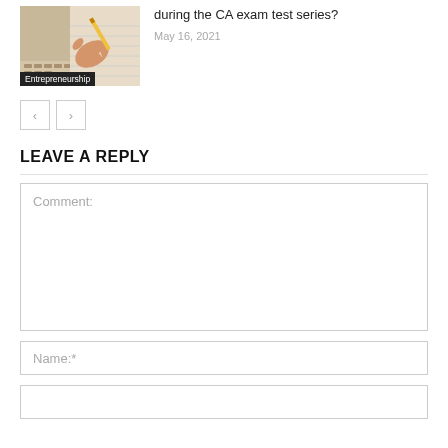[Figure (photo): Thumbnail image of a hand writing with a pencil on paper, with an 'Entrepreneurship' label overlay at the bottom.]
during the CA exam test series?
May 16, 2021
< >
LEAVE A REPLY
Comment:
Name:*